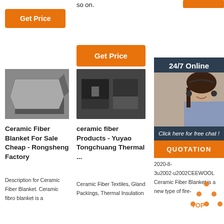[Figure (screenshot): E-commerce product listing page for ceramic fiber blankets showing three product columns with orange Get Price buttons, product images, titles, descriptions, and a 24/7 online chat widget in the top right.]
so on.
Get Price
Get Price
24/7 Online
Click here for free chat !
QUOTATION
Ceramic Fiber Blanket For Sale Cheap - Rongsheng Factory
ceramic fiber Products - Yuyao Tongchuang Thermal ...
Cera blanket
2020-8-3u2002·u2002CEEWOOL Ceramic Fiber Blanket is a new type of fire-
Description for Ceramic Fiber Blanket. Ceramic fibro blanket is a
Ceramic Fiber Textiles, Gland Packings, Thermal Insulation